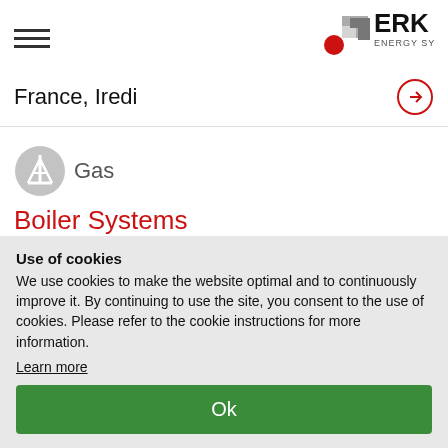ERK Energy Systems
France, Iredi
[Figure (logo): Gas icon - grey circle with white oil derrick symbol, followed by text 'Gas']
Boiler Systems
Finland, Helsinki
Use of cookies
We use cookies to make the website optimal and to continuously improve it. By continuing to use the site, you consent to the use of cookies. Please refer to the cookie instructions for more information.
Learn more
Ok